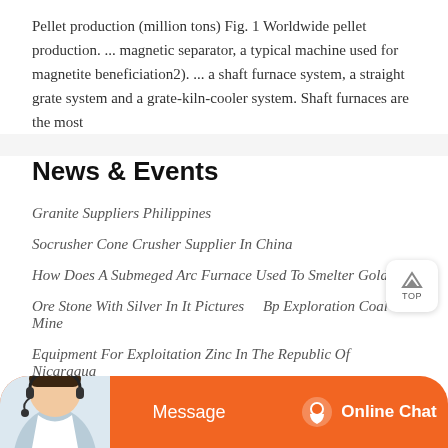Pellet production (million tons) Fig. 1 Worldwide pellet production. ... magnetic separator, a typical machine used for magnetite beneficiation2). ... a shaft furnace system, a straight grate system and a grate-kiln-cooler system. Shaft furnaces are the most
News & Events
Granite Suppliers Philippines
Socrusher Cone Crusher Supplier In China
How Does A Submeged Arc Furnace Used To Smelter Gold
Ore Stone With Silver In It Pictures    Bp Exploration Coal Mine
Equipment For Exploitation Zinc In The Republic Of Nicaragua
Iers Crusher Machine
Raymond Grinding Mill Manufacturer Pakistan